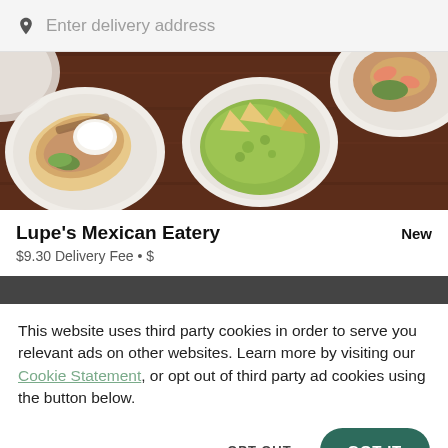Enter delivery address
[Figure (photo): Food photo showing Mexican dishes: burritos and bowls with guacamole on a dark wooden table]
Lupe's Mexican Eatery
New
$9.30 Delivery Fee • $
This website uses third party cookies in order to serve you relevant ads on other websites. Learn more by visiting our Cookie Statement, or opt out of third party ad cookies using the button below.
OPT OUT
GOT IT